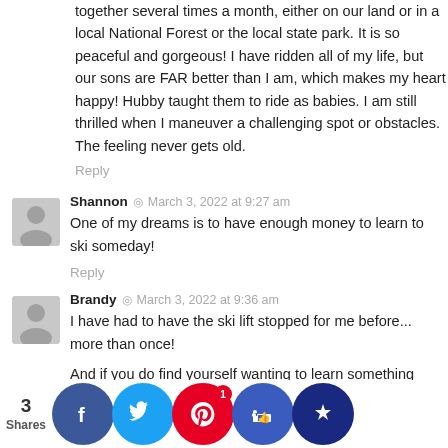together several times a month, either on our land or in a local National Forest or the local state park. It is so peaceful and gorgeous! I have ridden all of my life, but our sons are FAR better than I am, which makes my heart happy! Hubby taught them to ride as babies. I am still thrilled when I maneuver a challenging spot or obstacles. The feeling never gets old.
Reply
Shannon ◎ March 3, 2022 at 9:27 am
One of my dreams is to have enough money to learn to ski someday!
Reply
Brandy ◎ March 3, 2022 at 9:36 am
I have had to have the ski lift stopped for me before... more than once!
And if you do find yourself wanting to learn something else new, I highly recommend the chainsaw course! I learned to use a chainsaw last... My husband owns several power... do... I have... boulders... here is... could...
[Figure (infographic): Social sharing bar with 3 Shares count, and social media icons: Facebook (blue), Twitter (light blue), Pinterest (red, badge 1), thumbs up (dark blue), crown (navy)]